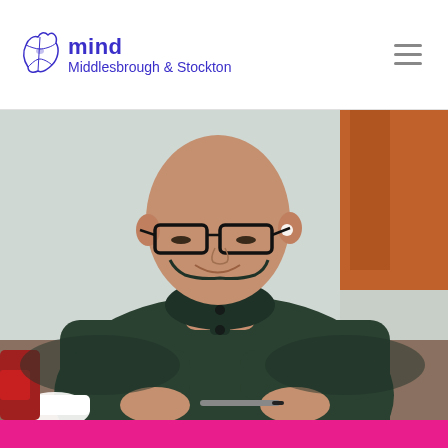mind Middlesbrough & Stockton
[Figure (photo): A middle-aged man with a shaved head and black-framed glasses pushed up on his forehead, wearing a dark green henley sweater, looking down and holding a pen, seated at a table with a white cup nearby. Background has a light wall and orange curtain.]